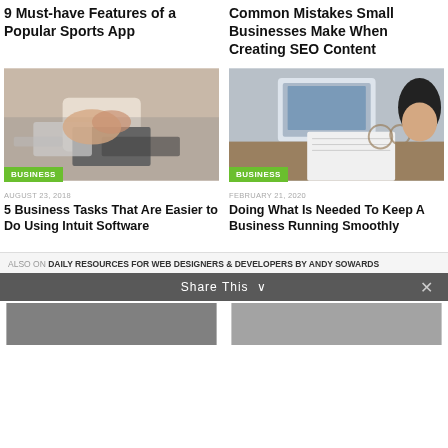9 Must-have Features of a Popular Sports App
Common Mistakes Small Businesses Make When Creating SEO Content
[Figure (photo): Hands holding a smartphone and using a laptop keyboard, business category badge shown]
[Figure (photo): Person at desk with laptop, notebook and glasses, business category badge shown]
AUGUST 23, 2018
5 Business Tasks That Are Easier to Do Using Intuit Software
FEBRUARY 21, 2020
Doing What Is Needed To Keep A Business Running Smoothly
ALSO ON DAILY RESOURCES FOR WEB DESIGNERS & DEVELOPERS BY ANDY SOWARDS
Share This ∨
[Figure (photo): Bottom left thumbnail image]
[Figure (photo): Bottom right thumbnail image]